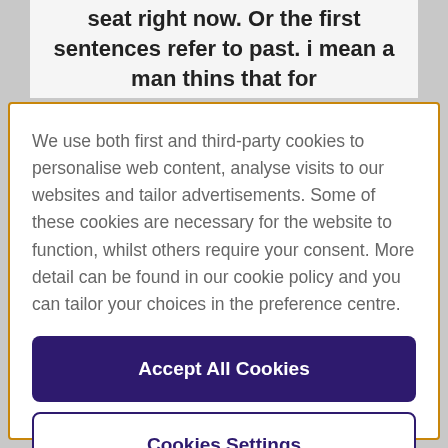seat right now. Or the first sentences refer to past. i mean a man thins that for
We use both first and third-party cookies to personalise web content, analyse visits to our websites and tailor advertisements. Some of these cookies are necessary for the website to function, whilst others require your consent. More detail can be found in our cookie policy and you can tailor your choices in the preference centre.
Accept All Cookies
Cookies Settings